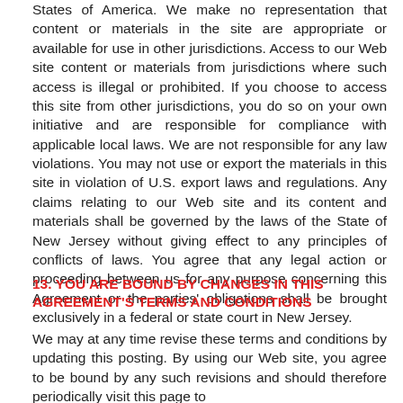States of America. We make no representation that content or materials in the site are appropriate or available for use in other jurisdictions. Access to our Web site content or materials from jurisdictions where such access is illegal or prohibited. If you choose to access this site from other jurisdictions, you do so on your own initiative and are responsible for compliance with applicable local laws. We are not responsible for any law violations. You may not use or export the materials in this site in violation of U.S. export laws and regulations. Any claims relating to our Web site and its content and materials shall be governed by the laws of the State of New Jersey without giving effect to any principles of conflicts of laws. You agree that any legal action or proceeding between us for any purpose concerning this Agreement or the parties' obligations shall be brought exclusively in a federal or state court in New Jersey.
13. YOU ARE BOUND BY CHANGES IN THIS AGREEMENT'S TERMS AND CONDITIONS
We may at any time revise these terms and conditions by updating this posting. By using our Web site, you agree to be bound by any such revisions and should therefore periodically visit this page to